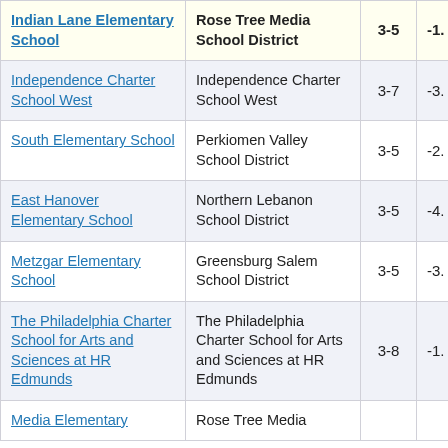| School | District | Grades | Value |
| --- | --- | --- | --- |
| Indian Lane Elementary School | Rose Tree Media School District | 3-5 | -1. |
| Independence Charter School West | Independence Charter School West | 3-7 | -3. |
| South Elementary School | Perkiomen Valley School District | 3-5 | -2. |
| East Hanover Elementary School | Northern Lebanon School District | 3-5 | -4. |
| Metzgar Elementary School | Greensburg Salem School District | 3-5 | -3. |
| The Philadelphia Charter School for Arts and Sciences at HR Edmunds | The Philadelphia Charter School for Arts and Sciences at HR Edmunds | 3-8 | -1. |
| Media Elementary | Rose Tree Media |  |  |